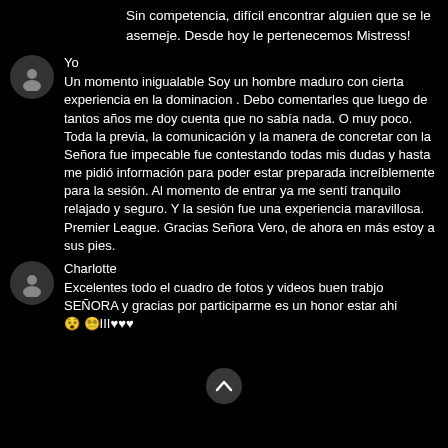Sin competencia, difícil encontrar alguien que se le asemeje. Desde hoy le pertenecemos Mistress!
Yo
Un momento inigualable Soy un hombre maduro con cierta experiencia en la dominacion . Debo comentarles que luego de tantos años me doy cuenta que no sabía nada. O muy poco. Toda la previa, la comunicación y la manera de concretar con la Señora fue impecable fue contestando todas mis dudas y hasta me pidió información para poder estar preparada increíblemente para la sesión. Al momento de entrar ya me sentí tranquilo relajado y seguro. Y la sesión fue una experiencia maravillosa. Premier League. Gracias Señora Vero, de ahora en más estoy a sus pies.
Charlotte
Excelentes todo el cuadro de fotos y videos buen trabjo SEÑORA y gracias por participarme es un honor estar ahi 😵 😵‍💫III♥♥♥